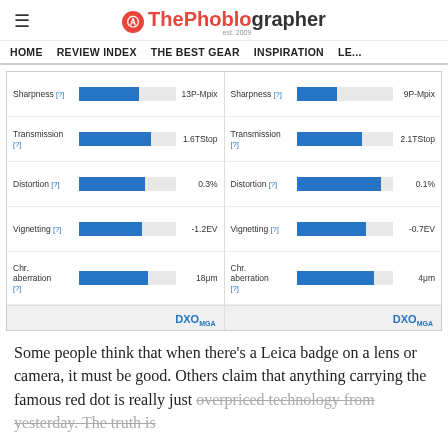ThePhoblographer
HOME  REVIEW INDEX  THE BEST GEAR  INSPIRATION  LE...
[Figure (infographic): Two DXOMark lens metric panels side by side. Left panel: Sharpness 13P-Mpix, Transmission 1.6TStop, Distortion 0.3%, Vignetting -1.2EV, Chr. aberration 18μm. Right panel: Sharpness 9P-Mpix, Transmission 2.1TStop, Distortion 0.1%, Vignetting -0.7EV, Chr. aberration 4μm. Each metric shown with a blue bar chart and a DXOMark logo at the bottom.]
Some people think that when there's a Leica badge on a lens or camera, it must be good. Others claim that anything carrying the famous red dot is really just overpriced technology from yesterday. The truth is